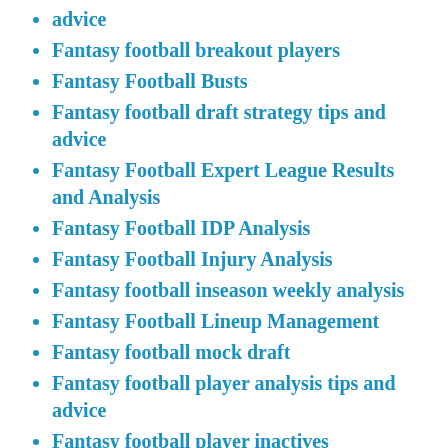advice
Fantasy football breakout players
Fantasy Football Busts
Fantasy football draft strategy tips and advice
Fantasy Football Expert League Results and Analysis
Fantasy Football IDP Analysis
Fantasy Football Injury Analysis
Fantasy football inseason weekly analysis
Fantasy Football Lineup Management
Fantasy football mock draft
Fantasy football player analysis tips and advice
Fantasy football player inactives
Fantasy football player movement